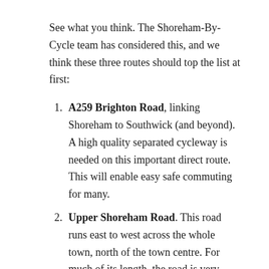See what you think. The Shoreham-By-Cycle team has considered this, and we think these three routes should top the list at first:
A259 Brighton Road, linking Shoreham to Southwick (and beyond). A high quality separated cycleway is needed on this important direct route. This will enable easy safe commuting for many.
Upper Shoreham Road. This road runs east to west across the whole town, north of the town centre. For much of its length, the road is very wide, meaning a high-quality separated cycleway is achievable.
Middle Road. Running through the heart of east Shoreham, Middle Road has a number of...